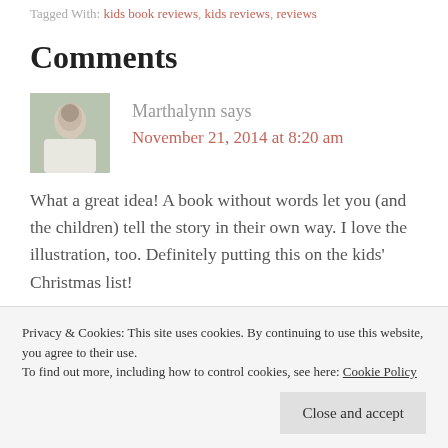Tagged With: kids book reviews, kids reviews, reviews
Comments
Marthalynn says
November 21, 2014 at 8:20 am
What a great idea! A book without words let you (and the children) tell the story in their own way. I love the illustration, too. Definitely putting this on the kids' Christmas list!
[Figure (photo): Small avatar photo of Marthalynn, a person in white clothing outdoors]
[Figure (photo): Partial avatar photo of second commenter, dark image]
Privacy & Cookies: This site uses cookies. By continuing to use this website, you agree to their use. To find out more, including how to control cookies, see here: Cookie Policy
Close and accept